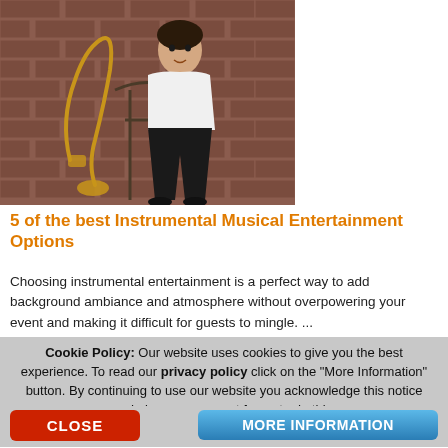[Figure (photo): A young man in a white shirt and black trousers sitting on a vintage metal chair leaning against a brick wall, with a large gold saxophone beside him.]
5 of the best Instrumental Musical Entertainment Options
Choosing instrumental entertainment is a perfect way to add background ambiance and atmosphere without overpowering your event and making it difficult for guests to mingle.  ...
Cookie Policy: Our website uses cookies to give you the best experience. To read our privacy policy click on the "More Information" button. By continuing to use our website you acknowledge this notice and give your consent for us to do this.
CLOSE
MORE INFORMATION